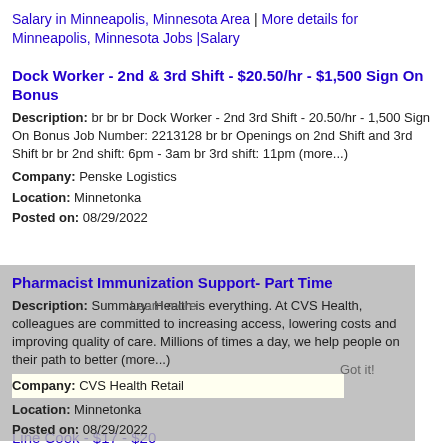Salary in Minneapolis, Minnesota Area | More details for Minneapolis, Minnesota Jobs |Salary
Dock Worker - 2nd & 3rd Shift - $20.50/hr - $1,500 Sign On Bonus
Description: br br br Dock Worker - 2nd 3rd Shift - 20.50/hr - 1,500 Sign On Bonus Job Number: 2213128 br br Openings on 2nd Shift and 3rd Shift br br 2nd shift: 6pm - 3am br 3rd shift: 11pm (more...)
Company: Penske Logistics
Location: Minnetonka
Posted on: 08/29/2022
Pharmacist Immunization Support- Part Time
Description: Summary: Health is everything. At CVS Health, colleagues are committed to increasing access, lowering costs and improving quality of care. Millions of times a day, we help people on their path to better (more...)
Company: CVS Health Retail
Location: Minnetonka
Posted on: 08/29/2022
Line Cook - $17 - $20